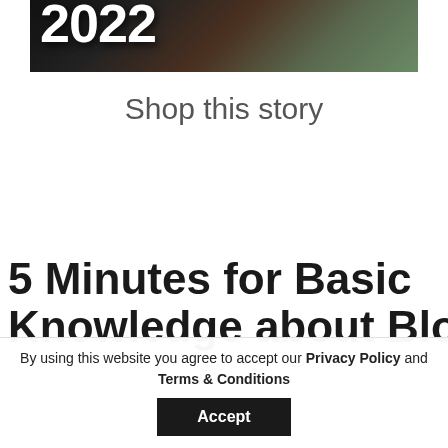[Figure (photo): A dark background image showing the number 2022 in large white bold text, with a partial view of a hand in a teal/green sweater on the right side.]
Shop this story
5 Minutes for Basic Knowledge about Blockchain
By using this website you agree to accept our Privacy Policy and Terms & Conditions
Accept